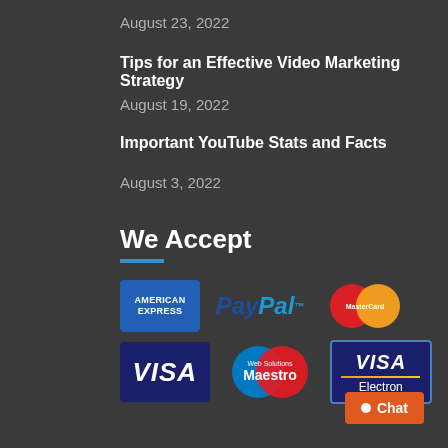August 23, 2022
Tips for an Effective Video Marketing Strategy
August 19, 2022
Important YouTube Stats and Facts
August 3, 2022
We Accept
[Figure (logo): Payment method logos: American Express, PayPal, MasterCard, VISA, Maestro, VISA Electron]